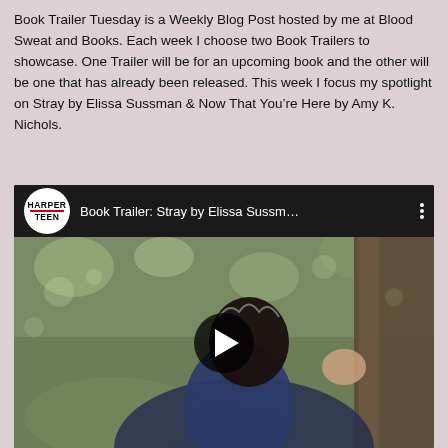Book Trailer Tuesday is a Weekly Blog Post hosted by me at Blood Sweat and Books. Each week I choose two Book Trailers to showcase. One Trailer will be for an upcoming book and the other will be one that has already been released. This week I focus my spotlight on Stray by Elissa Sussman & Now That You're Here by Amy K. Nichols.
[Figure (screenshot): YouTube video thumbnail showing 'Book Trailer: Stray by Elissa Sussman...' with HarperTeen logo, a young woman wearing a crown leaning against a tree in a forest, and a play button overlay]